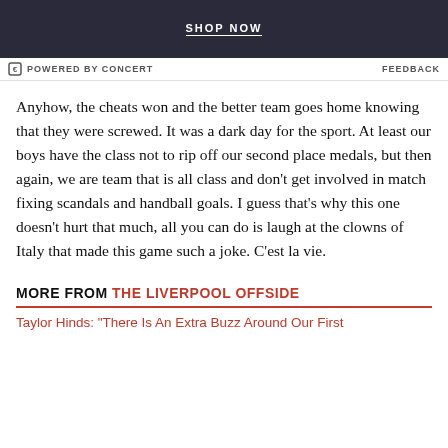[Figure (photo): Advertisement image with dark background and SHOP NOW text]
POWERED BY CONCERT   FEEDBACK
Anyhow, the cheats won and the better team goes home knowing that they were screwed. It was a dark day for the sport. At least our boys have the class not to rip off our second place medals, but then again, we are team that is all class and don't get involved in match fixing scandals and handball goals. I guess that's why this one doesn't hurt that much, all you can do is laugh at the clowns of Italy that made this game such a joke. C'est la vie.
MORE FROM THE LIVERPOOL OFFSIDE
Taylor Hinds: "There Is An Extra Buzz Around Our First